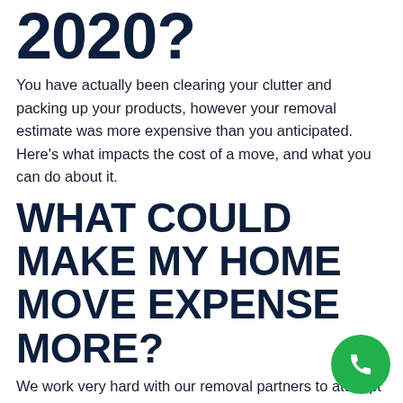2020?
You have actually been clearing your clutter and packing up your products, however your removal estimate was more expensive than you anticipated. Here’s what impacts the cost of a move, and what you can do about it.
WHAT COULD MAKE MY HOME MOVE EXPENSE MORE?
We work very hard with our removal partners to attempt and make sure you get an accurate quote when using reallymoving, but there are constantly going to be a few circumstances that can add expenses to a home move. We recommend asking your removal group for getting ‘removal study’, where a member of the removal team will